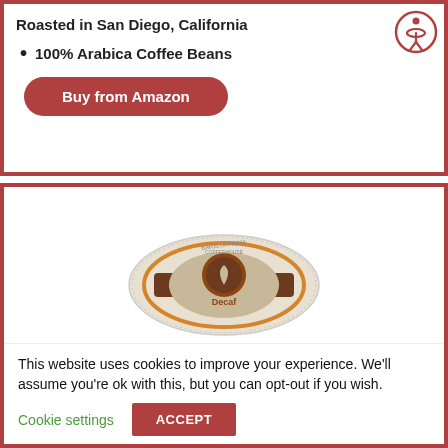Roasted in San Diego, California
100% Arabica Coffee Beans
Buy from Amazon
[Figure (photo): Barista Prima Coffeehouse K-Cup pod, partial view showing the circular top of the pod with brand logo and 'Decaf' text visible]
This website uses cookies to improve your experience. We'll assume you're ok with this, but you can opt-out if you wish.
Cookie settings
ACCEPT